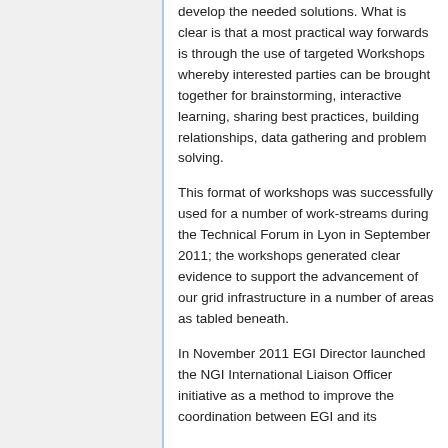develop the needed solutions. What is clear is that a most practical way forwards is through the use of targeted Workshops whereby interested parties can be brought together for brainstorming, interactive learning, sharing best practices, building relationships, data gathering and problem solving.
This format of workshops was successfully used for a number of work-streams during the Technical Forum in Lyon in September 2011; the workshops generated clear evidence to support the advancement of our grid infrastructure in a number of areas as tabled beneath.
In November 2011 EGI Director launched the NGI International Liaison Officer initiative as a method to improve the coordination between EGI and its